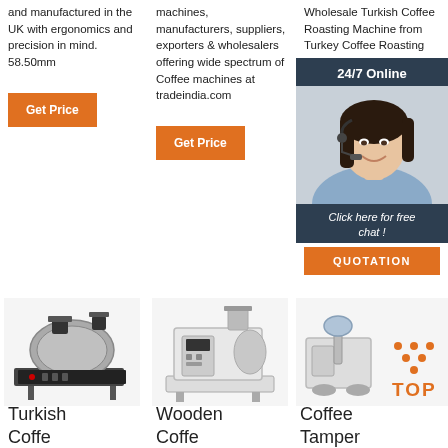and manufactured in the UK with ergonomics and precision in mind. 58.50mm
Get Price
machines, manufacturers, suppliers, exporters & wholesalers offering wide spectrum of Coffee machines at tradeindia.com
Get Price
Wholesale Turkish Coffee Roasting Machine from Turkey Coffee Roasting Machine Manufacturers, Suppliers
Get
[Figure (photo): Chat popup with 24/7 Online label, woman with headset, Click here for free chat!, QUOTATION button]
[Figure (photo): Turkish coffee roasting machine product image]
[Figure (photo): Wooden coffee roasting machine product image]
[Figure (photo): Coffee Tamper product image with TOP badge]
Turkish Coffee
Wooden Coffee
Coffee Tamper